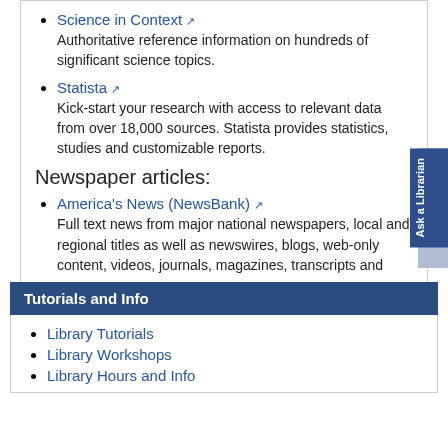Science in Context — Authoritative reference information on hundreds of significant science topics.
Statista — Kick-start your research with access to relevant data from over 18,000 sources. Statista provides statistics, studies and customizable reports.
Newspaper articles:
America's News (NewsBank) — Full text news from major national newspapers, local and regional titles as well as newswires, blogs, web-only content, videos, journals, magazines, transcripts and more.
Tutorials and Info
Library Tutorials
Library Workshops
Library Hours and Info